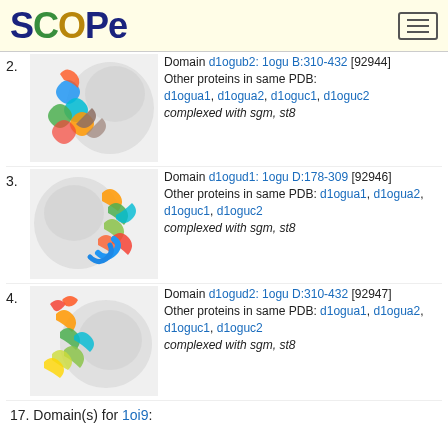SCOPe
2. Domain d1ogub2: 1ogu B:310-432 [92944] Other proteins in same PDB: d1ogua1, d1ogua2, d1oguc1, d1oguc2 complexed with sgm, st8
[Figure (photo): Protein structure ribbon diagram for d1ogub2, showing colorful alpha helices against a grey transparent structure background]
3. Domain d1ogud1: 1ogu D:178-309 [92946] Other proteins in same PDB: d1ogua1, d1ogua2, d1oguc1, d1oguc2 complexed with sgm, st8
[Figure (photo): Protein structure ribbon diagram for d1ogud1, showing colorful alpha helices and beta strands against a grey transparent structure background]
4. Domain d1ogud2: 1ogu D:310-432 [92947] Other proteins in same PDB: d1ogua1, d1ogua2, d1oguc1, d1oguc2 complexed with sgm, st8
[Figure (photo): Protein structure ribbon diagram for d1ogud2, showing colorful helices against a grey transparent structure background]
17. Domain(s) for 1oi9: